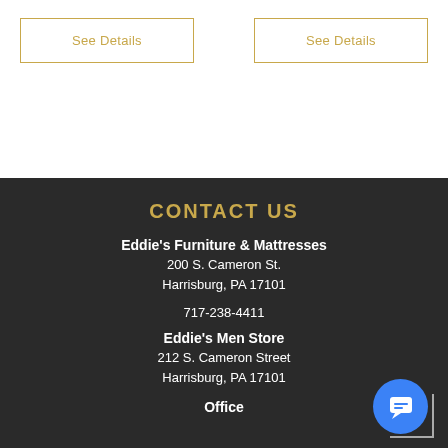See Details
See Details
CONTACT US
Eddie's Furniture & Mattresses
200 S. Cameron St.
Harrisburg, PA 17101
717-238-4411
Eddie's Men Store
212 S. Cameron Street
Harrisburg, PA 17101
Office